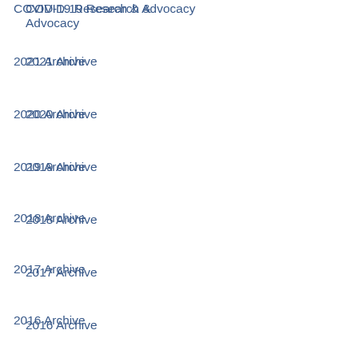COVID-19 Research & Advocacy
2021 Archive
2020 Archive
2019 Archive
2018 Archive
2017 Archive
2016 Archive
2015 Archive
2014 Archive
2013 Archive
2012 Archive
2011 Archive
2010 Archive
2009 Archive